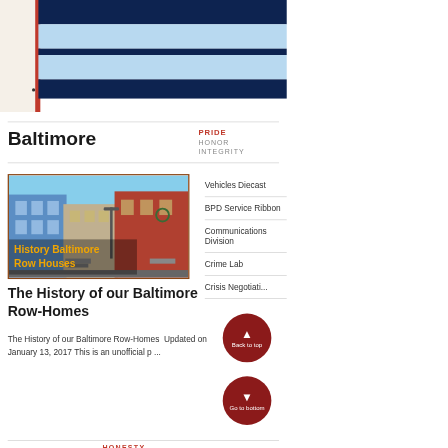[Figure (illustration): Baltimore city flag/banner with dark navy and light blue horizontal stripes, red vertical bar on left, cream/white panel on left side]
Baltimore
PRIDE
HONOR
INTEGRITY
[Figure (photo): Photo of Baltimore Row Houses - colorful brick row homes with stoops and stairs, text overlay reads 'History Baltimore Row Houses']
The History of our Baltimore Row-Homes
The History of our Baltimore Row-Homes  Updated on January 13, 2017 This is an unofficial p ...
Vehicles Diecast
BPD Service Ribbon
Communications Division
Crime Lab
Crisis Negotiati...
HONESTY